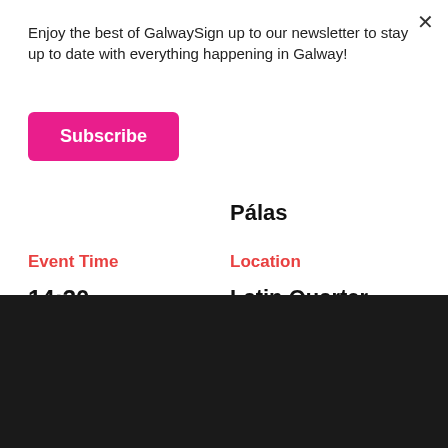Enjoy the best of GalwaySign up to our newsletter to stay up to date with everything happening in Galway!
Subscribe
Pálas
Event Time
14:30 -
Location
Latin Quarter
We use cookies to give you the best online experience. By using our website you agree to our use of cookies in accordance with our cookie policy, and agree that we can send you personalized ads and communications during your online experience. To read our cookie policy and learn how to disable cookies, click here: settings.
Accept
Reject
Settings